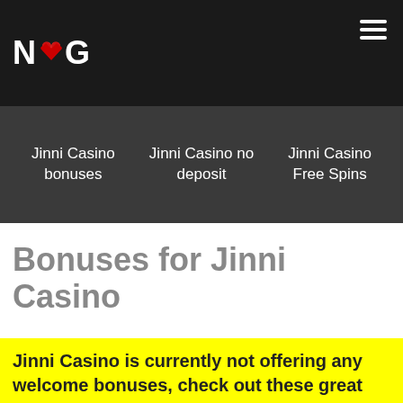[Figure (logo): NCG logo with heart icon between N and C, white text on dark background]
Jinni Casino bonuses | Jinni Casino no deposit | Jinni Casino Free Spins
Bonuses for Jinni Casino
Jinni Casino is currently not offering any welcome bonuses, check out these great